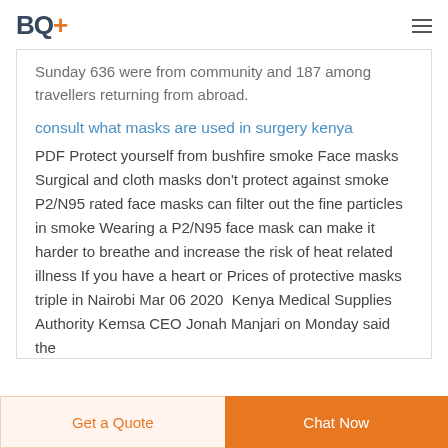BQ+
Sunday 636 were from community and 187 among travellers returning from abroad.
consult what masks are used in surgery kenya
PDF Protect yourself from bushfire smoke Face masks Surgical and cloth masks don't protect against smoke P2/N95 rated face masks can filter out the fine particles in smoke Wearing a P2/N95 face mask can make it harder to breathe and increase the risk of heat related illness If you have a heart or Prices of protective masks triple in Nairobi Mar 06 2020  Kenya Medical Supplies Authority Kemsa CEO Jonah Manjari on Monday said the
Get a Quote | Chat Now